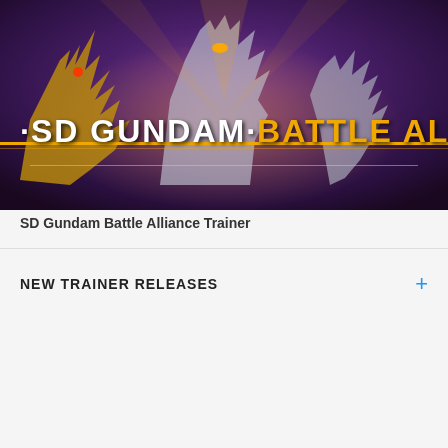[Figure (illustration): SD Gundam Battle Alliance promotional artwork showing mech robots in battle poses with purple and orange tones, featuring the game logo with white text 'SD GUNDAM' and orange text 'BATTLE ALLIANCE' with golden horizontal lines]
SD Gundam Battle Alliance Trainer
NEW TRAINER RELEASES
[Figure (illustration): Dying Light game promotional artwork with dark monochrome background showing zombie silhouettes and distorted urban imagery, with large white bold text 'DYING LIGHT' and orange tagline 'GOOD NIGHT GOOD LUCK']